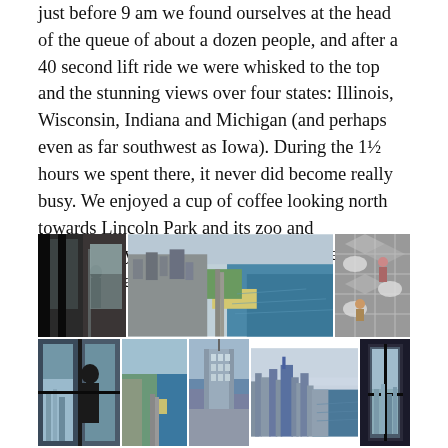just before 9 am we found ourselves at the head of the queue of about a dozen people, and after a 40 second lift ride we were whisked to the top and the stunning views over four states: Illinois, Wisconsin, Indiana and Michigan (and perhaps even as far southwest as Iowa). During the 1½ hours we spent there, it never did become really busy. We enjoyed a cup of coffee looking north towards Lincoln Park and its zoo and conservatory that we planned to visit the following day.
[Figure (photo): Collection of photos from a tall building observation deck showing city views, Chicago lakefront aerial view, glass floor observation deck with visitors, man looking out at city, aerial views of Chicago skyline and Lake Michigan]